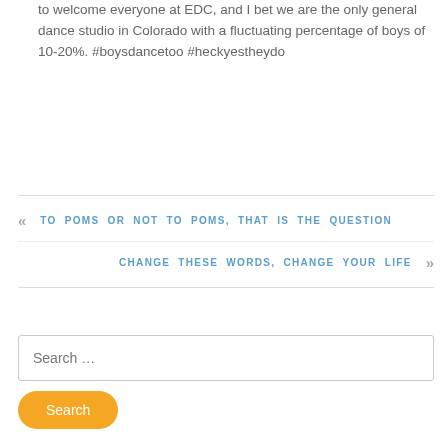to welcome everyone at EDC, and I bet we are the only general dance studio in Colorado with a fluctuating percentage of boys of 10-20%. #boysdancetoo #heckyestheydo
« TO POMS OR NOT TO POMS, THAT IS THE QUESTION
CHANGE THESE WORDS, CHANGE YOUR LIFE »
Search …